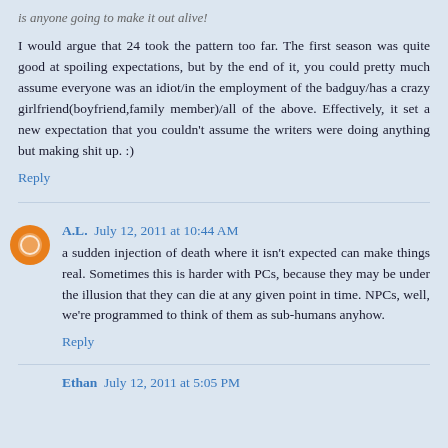is anyone going to make it out alive!
I would argue that 24 took the pattern too far. The first season was quite good at spoiling expectations, but by the end of it, you could pretty much assume everyone was an idiot/in the employment of the badguy/has a crazy girlfriend(boyfriend,family member)/all of the above. Effectively, it set a new expectation that you couldn't assume the writers were doing anything but making shit up. :)
Reply
A.L.  July 12, 2011 at 10:44 AM
a sudden injection of death where it isn't expected can make things real. Sometimes this is harder with PCs, because they may be under the illusion that they can die at any given point in time. NPCs, well, we're programmed to think of them as sub-humans anyhow.
Reply
Ethan  July 12, 2011 at 5:05 PM